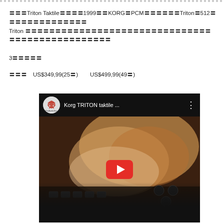〓〓〓Triton Taktile〓〓〓〓1999〓〓KORG〓PCM〓〓〓〓〓〓Triton〓512〓〓〓〓〓〓〓〓〓〓〓〓〓〓Triton 〓〓〓〓〓〓〓〓〓〓〓〓〓〓〓〓〓〓〓〓〓〓〓〓〓〓〓〓〓〓〓〓〓〓〓〓〓〓〓〓〓〓〓〓
3〓〓〓〓〓
〓〓〓　US$349,99(25〓)　　US$499,99(49〓)
[Figure (screenshot): YouTube video thumbnail showing 'Korg TRITON taktile ...' with ProAudioStar logo, hands playing keyboard, YouTube play button, and text 'ASSIGNABLE FADERS' at bottom]